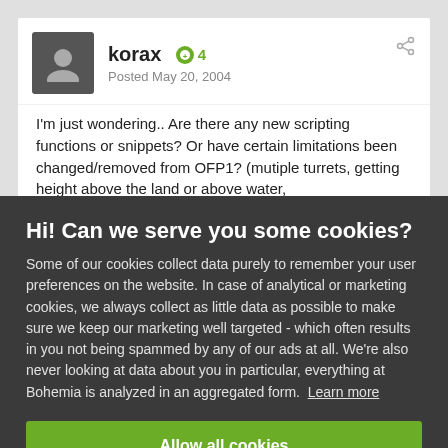korax  4  Posted May 20, 2004
I'm just wondering.. Are there any new scripting functions or snippets? Or have certain limitations been changed/removed from OFP1? (mutiple turrets, getting height above the land or above water, setbank/setpitch?)
Hi! Can we serve you some cookies?
Some of our cookies collect data purely to remember your user preferences on the website. In case of analytical or marketing cookies, we always collect as little data as possible to make sure we keep our marketing well targeted - which often results in you not being spammed by any of our ads at all. We're also never looking at data about you in particular, everything at Bohemia is analyzed in an aggregated form. Learn more
Allow all cookies
I want more options